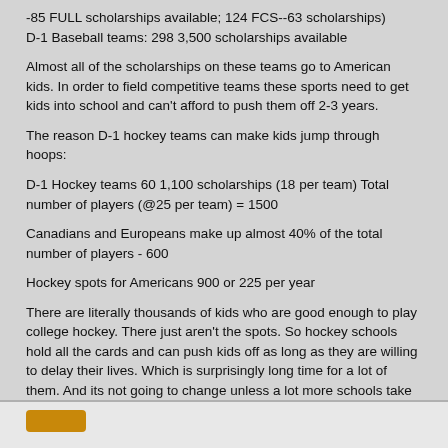-85 FULL scholarships available; 124 FCS--63 scholarships)
D-1 Baseball teams: 298 3,500 scholarships available
Almost all of the scholarships on these teams go to American kids. In order to field competitive teams these sports need to get kids into school and can't afford to push them off 2-3 years.
The reason D-1 hockey teams can make kids jump through hoops:
D-1 Hockey teams 60 1,100 scholarships (18 per team) Total number of players (@25 per team) = 1500
Canadians and Europeans make up almost 40% of the total number of players - 600
Hockey spots for Americans 900 or 225 per year
There are literally thousands of kids who are good enough to play college hockey. There just aren't the spots. So hockey schools hold all the cards and can push kids off as long as they are willing to delay their lives. Which is surprisingly long time for a lot of them. And its not going to change unless a lot more schools take up hockey.